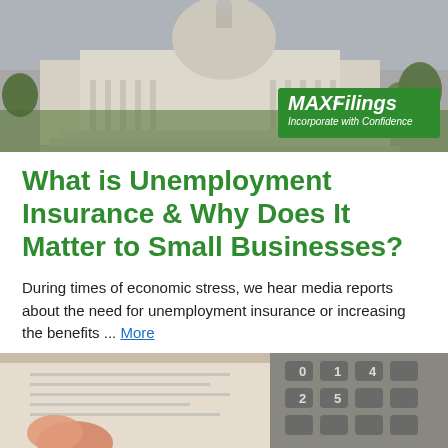[Figure (photo): Photograph of the US Capitol building with a MAXFilings branded overlay banner reading 'MAXFilings Incorporate with Confidence']
What is Unemployment Insurance & Why Does It Matter to Small Businesses?
During times of economic stress, we hear media reports about the need for unemployment insurance or increasing the benefits ... More
[Figure (photo): Close-up photo of a person's finger pointing at a document with a calculator in the background]